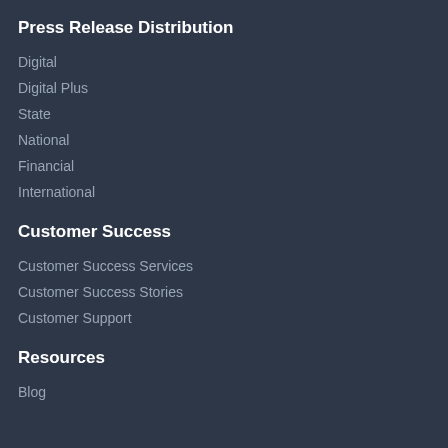Press Release Distribution
Digital
Digital Plus
State
National
Financial
International
Customer Success
Customer Success Services
Customer Success Stories
Customer Support
Resources
Blog